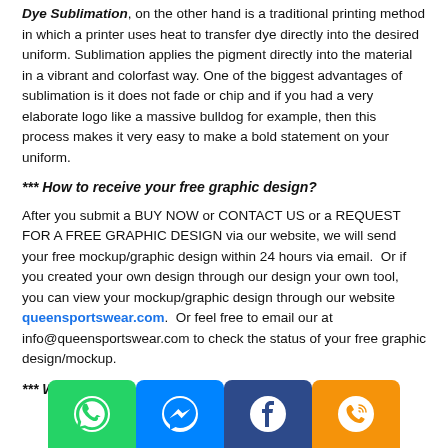Dye Sublimation, on the other hand is a traditional printing method in which a printer uses heat to transfer dye directly into the desired uniform. Sublimation applies the pigment directly into the material in a vibrant and colorfast way. One of the biggest advantages of sublimation is it does not fade or chip and if you had a very elaborate logo like a massive bulldog for example, then this process makes it very easy to make a bold statement on your uniform.
*** How to receive your free graphic design?
After you submit a BUY NOW or CONTACT US or a REQUEST FOR A FREE GRAPHIC DESIGN via our website, we will send your free mockup/graphic design within 24 hours via email.  Or if you created your own design through our design your own tool,  you can view your mockup/graphic design through our website queensportswear.com.  Or feel free to email our at info@queensportswear.com to check the status of your free graphic design/mockup.
*** What is th...
[Figure (other): Row of four social media / contact buttons: WhatsApp (green), Messenger (blue), Facebook (dark blue), Phone/Viber (orange)]